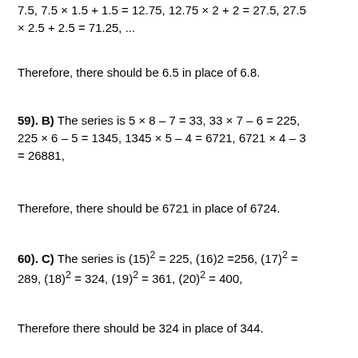7.5, 7.5 x 1.5 + 1.5 = 12.75, 12.75 x 2 + 2 = 27.5, 27.5 x 2.5 + 2.5 = 71.25, ...
Therefore, there should be 6.5 in place of 6.8.
59). B) The series is 5 x 8 – 7 = 33, 33 x 7 – 6 = 225, 225 x 6 – 5 = 1345, 1345 x 5 – 4 = 6721, 6721 x 4 – 3 = 26881,
Therefore, there should be 6721 in place of 6724.
60). C) The series is (15)² = 225, (16)2 =256, (17)² = 289, (18)² = 324, (19)² = 361, (20)² = 400,
Therefore there should be 324 in place of 344.